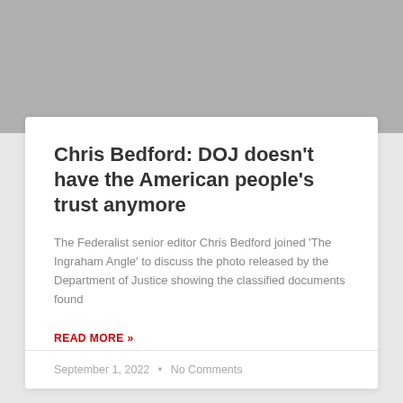[Figure (photo): Gray placeholder image area at the top of the card]
Chris Bedford: DOJ doesn't have the American people's trust anymore
The Federalist senior editor Chris Bedford joined 'The Ingraham Angle' to discuss the photo released by the Department of Justice showing the classified documents found
READ MORE »
September 1, 2022  •  No Comments